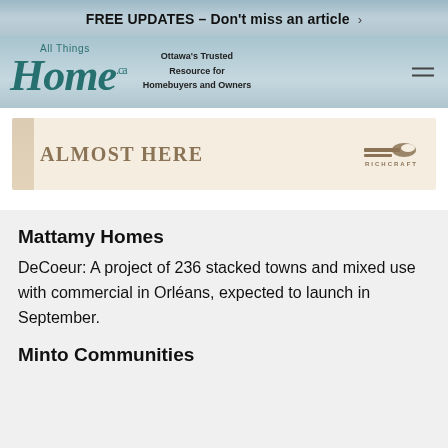FREE UPDATES – Don't miss an article >
[Figure (logo): All Things Home .ca logo with tagline: Ottawa's Trusted Resource for Homebuyers and Owners]
[Figure (other): Advertisement banner: ALMOST HERE with Richcraft logo]
Mattamy Homes
DeCoeur: A project of 236 stacked towns and mixed use with commercial in Orléans, expected to launch in September.
Minto Communities